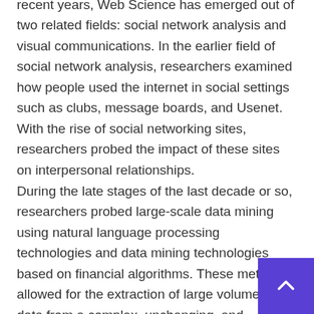recent years, Web Science has emerged out of two related fields: social network analysis and visual communications. In the earlier field of social network analysis, researchers examined how people used the internet in social settings such as clubs, message boards, and Usenet. With the rise of social networking sites, researchers probed the impact of these sites on interpersonal relationships.
During the late stages of the last decade or so, researchers probed large-scale data mining using natural language processing technologies and data mining technologies based on financial algorithms. These methods allowed for the extraction of large volumes of data from a complex, unchanging, and challenging environment. The result of a foundation from